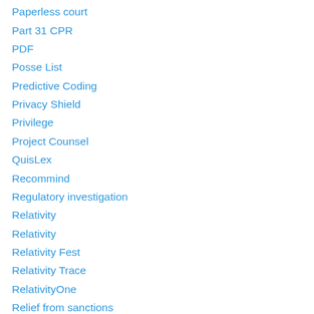Paperless court
Part 31 CPR
PDF
Posse List
Predictive Coding
Privacy Shield
Privilege
Project Counsel
QuisLex
Recommind
Regulatory investigation
Relativity
Relativity
Relativity Fest
Relativity Trace
RelativityOne
Relief from sanctions
Ricoh
Ricoh eDiscovery
Ricoh USA